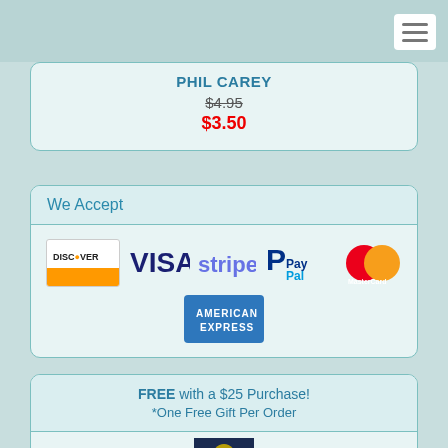Navigation bar with hamburger menu
PHIL CAREY
$4.95
$3.50
We Accept
[Figure (logo): Payment method logos: Discover, VISA, stripe, PayPal, MasterCard, American Express]
FREE with a $25 Purchase! *One Free Gift Per Order
[Figure (photo): Emmy Award statuette]